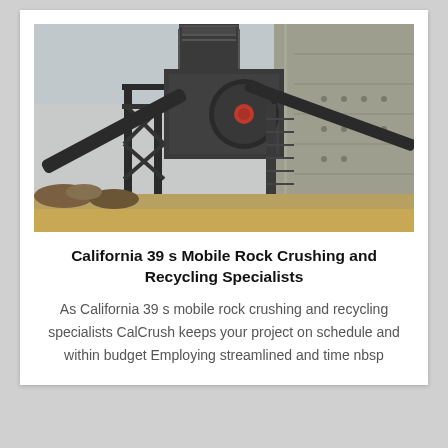[Figure (photo): Industrial rock crushing and screening plant with steel structure, conveyor belts, stairs and a concrete wall in the background, set at a quarry site.]
California 39 s Mobile Rock Crushing and Recycling Specialists
As California 39 s mobile rock crushing and recycling specialists CalCrush keeps your project on schedule and within budget Employing streamlined and time nbsp